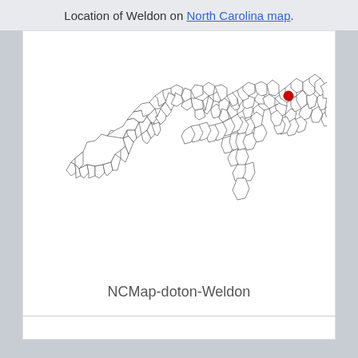Location of Weldon on North Carolina map.
[Figure (map): Map of North Carolina showing county boundaries with a red dot marking the location of Weldon in the northeastern part of the state.]
NCMap-doton-Weldon